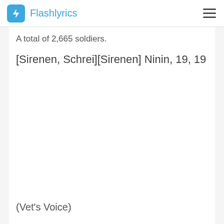Flashlyrics
A total of 2,665 soldiers.
[Sirenen, Schrei][Sirenen] Ninin, 19, 19
(Vet's Voice)